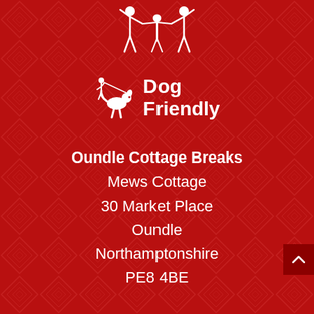[Figure (illustration): White family icon (two adults and a child with raised arms) on red patterned background]
[Figure (logo): Dog Friendly logo: white dog on leash icon next to bold white text reading 'Dog Friendly']
Oundle Cottage Breaks
Mews Cottage
30 Market Place
Oundle
Northamptonshire
PE8 4BE
01832 275508